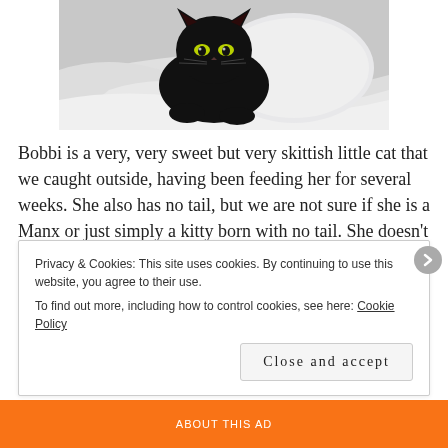[Figure (photo): A black cat sitting on white bedding/sheets, looking toward the camera with yellow-green eyes.]
Bobbi is a very, very sweet but very skittish little cat that we caught outside, having been feeding her for several weeks. She also has no tail, but we are not sure if she is a Manx or just simply a kitty born with no tail. She doesn't even have a stub..there is nothing there! But what a cutie she is. You have to hold her an extremely weird and
Privacy & Cookies: This site uses cookies. By continuing to use this website, you agree to their use.
To find out more, including how to control cookies, see here: Cookie Policy
Close and accept